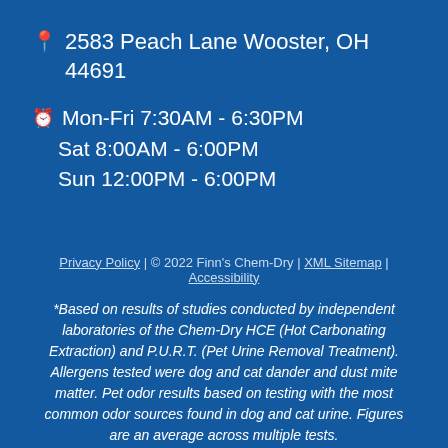📍 2583 Peach Lane Wooster, OH 44691
🕐 Mon-Fri 7:30AM - 6:30PM
Sat 8:00AM - 6:00PM
Sun 12:00PM - 6:00PM
Privacy Policy | © 2022 Finn's Chem-Dry | XML Sitemap | Accessibility
*Based on results of studies conducted by independent laboratories of the Chem-Dry HCE (Hot Carbonating Extraction) and P.U.R.T. (Pet Urine Removal Treatment). Allergens tested were dog and cat dander and dust mite matter. Pet odor results based on testing with the most common odor sources found in dog and cat urine. Figures are an average across multiple tests.